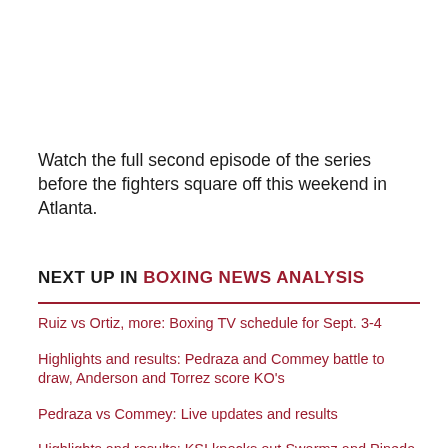Watch the full second episode of the series before the fighters square off this weekend in Atlanta.
NEXT UP IN BOXING NEWS ANALYSIS
Ruiz vs Ortiz, more: Boxing TV schedule for Sept. 3-4
Highlights and results: Pedraza and Commey battle to draw, Anderson and Torrez score KO's
Pedraza vs Commey: Live updates and results
Highlights and results: KSI knocks out Swarmz and Pineda in London